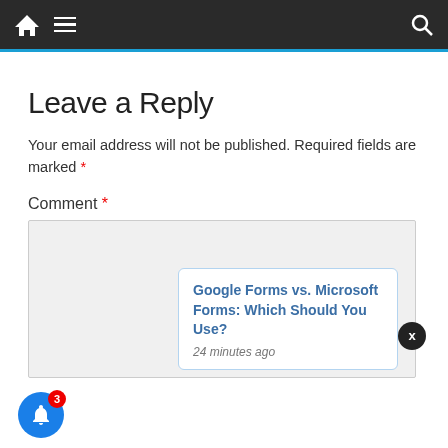Navigation bar with home, menu, and search icons
Leave a Reply
Your email address will not be published. Required fields are marked *
Comment *
[Figure (screenshot): Comment textarea input field (empty, light gray background)]
Google Forms vs. Microsoft Forms: Which Should You Use?
24 minutes ago